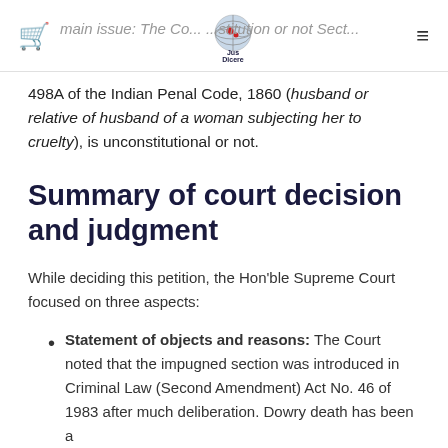Jus Dicere
498A of the Indian Penal Code, 1860 (husband or relative of husband of a woman subjecting her to cruelty), is unconstitutional or not.
Summary of court decision and judgment
While deciding this petition, the Hon'ble Supreme Court focused on three aspects:
Statement of objects and reasons: The Court noted that the impugned section was introduced in Criminal Law (Second Amendment) Act No. 46 of 1983 after much deliberation. Dowry death has been a